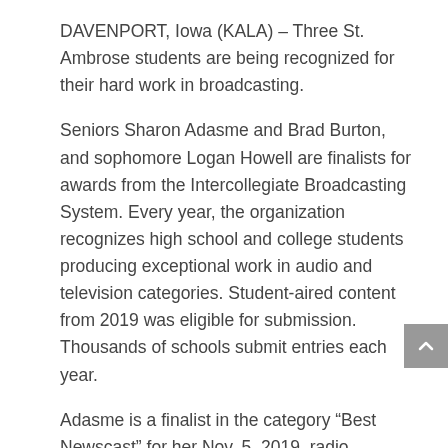DAVENPORT, Iowa (KALA) – Three St. Ambrose students are being recognized for their hard work in broadcasting.
Seniors Sharon Adasme and Brad Burton, and sophomore Logan Howell are finalists for awards from the Intercollegiate Broadcasting System. Every year, the organization recognizes high school and college students producing exceptional work in audio and television categories. Student-aired content from 2019 was eligible for submission. Thousands of schools submit entries each year.
Adasme is a finalist in the category “Best Newscast” for her Nov. 5, 2019, radio newscast, “KALA News Today,” which featured coverage of Davenport’s mayoral race. The twice-weekly show aired at 11 a.m. Tuesdays and Thursdays on KALA 88.5 FM during the fall semester of the 2019-2020 school year.